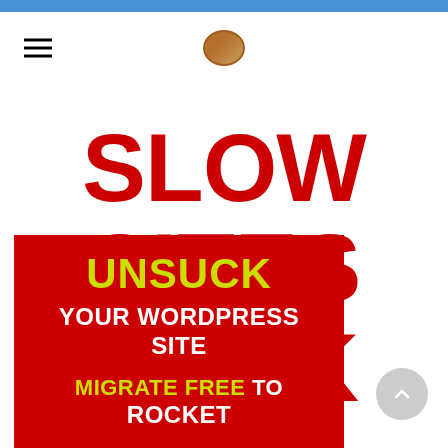SLOW SITES SUCK
[Figure (infographic): Red banner with yellow and white bold text: UNSUCK YOUR WORDPRESS SITE / MIGRATE FREE TO ROCKET]
UNSUCK YOUR WORDPRESS SITE MIGRATE FREE TO ROCKET